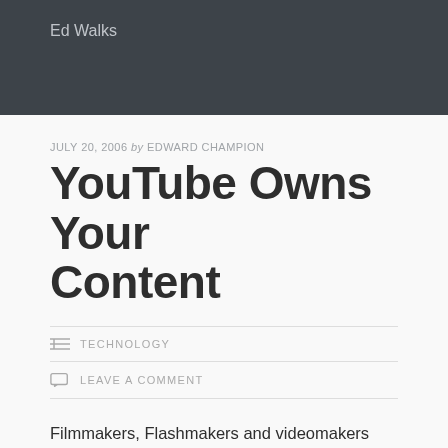Ed Walks
JULY 20, 2006 by EDWARD CHAMPION
YouTube Owns Your Content
TECHNOLOGY
LEAVE A COMMENT
Filmmakers, Flashmakers and videomakers beware: PuppetVision uncovers disturbing new terms that YouTube has recently added to its site. You may want